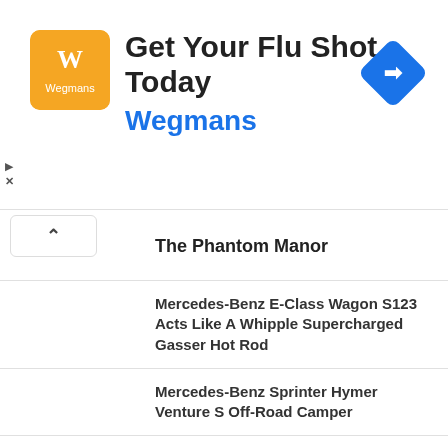[Figure (screenshot): Advertisement banner for Wegmans flu shot promotion with orange logo and blue navigation arrow icon]
Get Your Flu Shot Today
Wegmans
The Phantom Manor
Mercedes-Benz E-Class Wagon S123 Acts Like A Whipple Supercharged Gasser Hot Rod
Mercedes-Benz Sprinter Hymer Venture S Off-Road Camper
Mercedes-Benz Unimog 416 Doka Could Take You On Next Off-Road Adventure
2023 Mercedes-AMG C 63 Quietly Attacks The Nordschleife
Mercedes-Benz S 580 FILTHY Chrome Trim Removed And Painted High Gloss Black